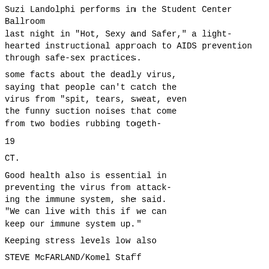Suzi Landolphi performs in the Student Center Ballroom last night in "Hot, Sexy and Safer," a light-hearted instructional approach to AIDS prevention through safe-sex practices.
some facts about the deadly virus, saying that people can’t catch the virus from “spit, tears, sweat, even the funny suction noises that come from two bodies rubbing togeth-
19
CT.
Good health also is essential in preventing the virus from attack-ing the immune system, she said. “We can live with this if we can keep our immune system up.”
Keeping stress levels low also
STEVE McFARLAND/Komel Staff
can help prevent the HIV virus from leading to AIDS. “Cutting down on caffeine, and sugar.” Landolphi said. as well as exerCis-